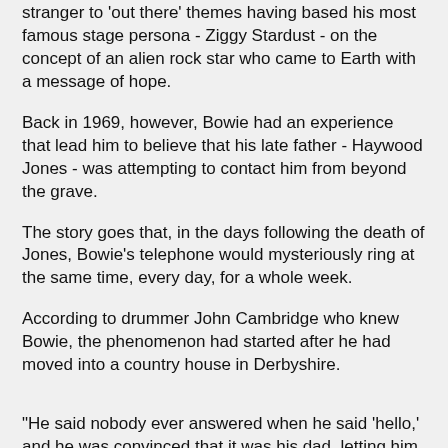stranger to 'out there' themes having based his most famous stage persona - Ziggy Stardust - on the concept of an alien rock star who came to Earth with a message of hope.
Back in 1969, however, Bowie had an experience that lead him to believe that his late father - Haywood Jones - was attempting to contact him from beyond the grave.
The story goes that, in the days following the death of Jones, Bowie's telephone would mysteriously ring at the same time, every day, for a whole week.
According to drummer John Cambridge who knew Bowie, the phenomenon had started after he had moved into a country house in Derbyshire.
"He said nobody ever answered when he said 'hello,' and he was convinced that it was his dad, letting him know that everything was okay," Cambridge recalled.
He added that the house itself was an old, atmospheric and spooky place at the best of times.